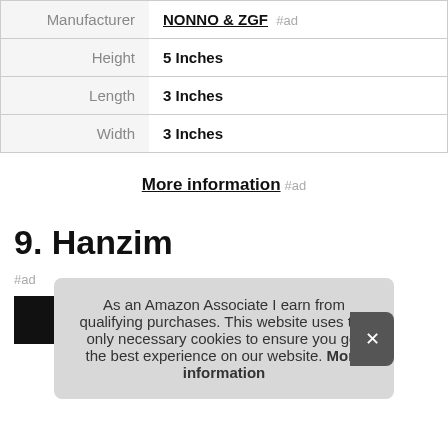|  |  |
| --- | --- |
| Manufacturer | NONNO & ZGF #ad |
| Height | 5 Inches |
| Length | 3 Inches |
| Width | 3 Inches |
More information #ad
9. Hanzim
As an Amazon Associate I earn from qualifying purchases. This website uses the only necessary cookies to ensure you get the best experience on our website. More information